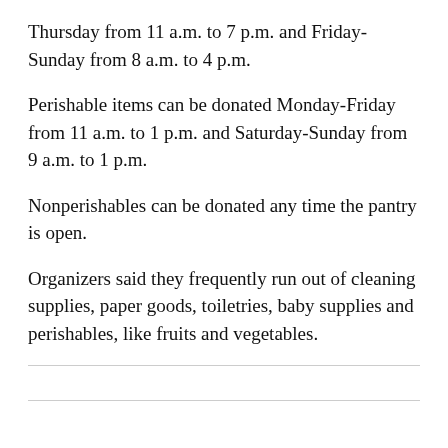Thursday from 11 a.m. to 7 p.m. and Friday-Sunday from 8 a.m. to 4 p.m.
Perishable items can be donated Monday-Friday from 11 a.m. to 1 p.m. and Saturday-Sunday from 9 a.m. to 1 p.m.
Nonperishables can be donated any time the pantry is open.
Organizers said they frequently run out of cleaning supplies, paper goods, toiletries, baby supplies and perishables, like fruits and vegetables.